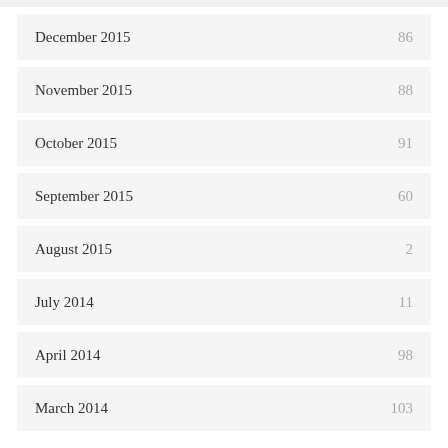December 2015    86
November 2015    88
October 2015    91
September 2015    60
August 2015    2
July 2014    11
April 2014    98
March 2014    103